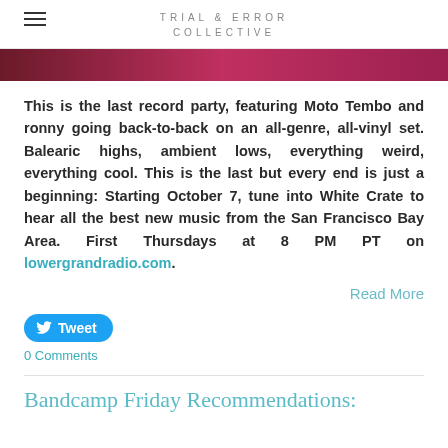TRIAL & ERROR COLLECTIVE
[Figure (photo): Dark reddish-pink gradient banner image at the top of the article]
This is the last record party, featuring Moto Tembo and ronny going back-to-back on an all-genre, all-vinyl set. Balearic highs, ambient lows, everything weird, everything cool. This is the last but every end is just a beginning: Starting October 7, tune into White Crate to hear all the best new music from the San Francisco Bay Area. First Thursdays at 8 PM PT on lowergrandradio.com.
Read More
Tweet
0 Comments
Bandcamp Friday Recommendations: